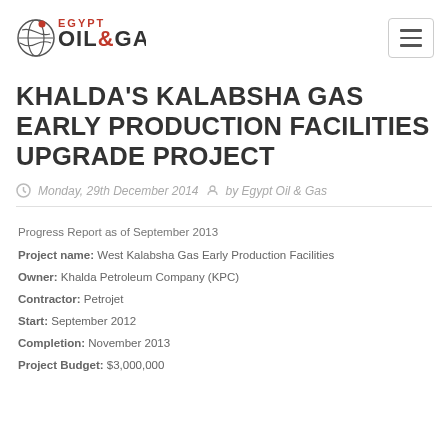[Figure (logo): Egypt Oil & Gas logo with globe/swirl icon and red/dark gray text]
KHALDA'S KALABSHA GAS EARLY PRODUCTION FACILITIES UPGRADE PROJECT
Monday, 29th December 2014  by Egypt Oil & Gas
Progress Report as of September 2013
Project name: West Kalabsha Gas Early Production Facilities
Owner: Khalda Petroleum Company (KPC)
Contractor: Petrojet
Start: September 2012
Completion: November 2013
Project Budget: $3,000,000